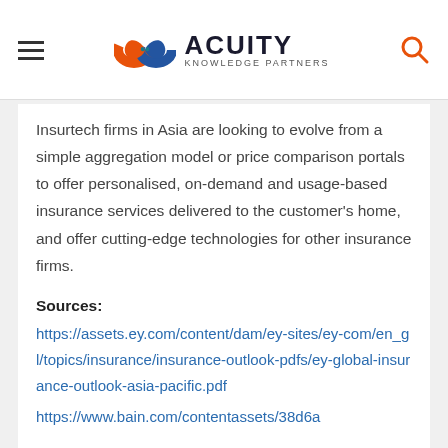Acuity Knowledge Partners
Insurtech firms in Asia are looking to evolve from a simple aggregation model or price comparison portals to offer personalised, on-demand and usage-based insurance services delivered to the customer's home, and offer cutting-edge technologies for other insurance firms.
Sources:
https://assets.ey.com/content/dam/ey-sites/ey-com/en_gl/topics/insurance/insurance-outlook-pdfs/ey-global-insurance-outlook-asia-pacific.pdf
https://www.bain.com/contentassets/38d6a